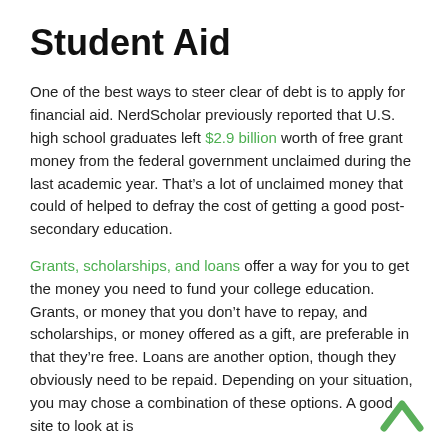Student Aid
One of the best ways to steer clear of debt is to apply for financial aid. NerdScholar previously reported that U.S. high school graduates left $2.9 billion worth of free grant money from the federal government unclaimed during the last academic year. That’s a lot of unclaimed money that could of helped to defray the cost of getting a good post-secondary education.
Grants, scholarships, and loans offer a way for you to get the money you need to fund your college education. Grants, or money that you don’t have to repay, and scholarships, or money offered as a gift, are preferable in that they’re free. Loans are another option, though they obviously need to be repaid. Depending on your situation, you may chose a combination of these options. A good site to look at is